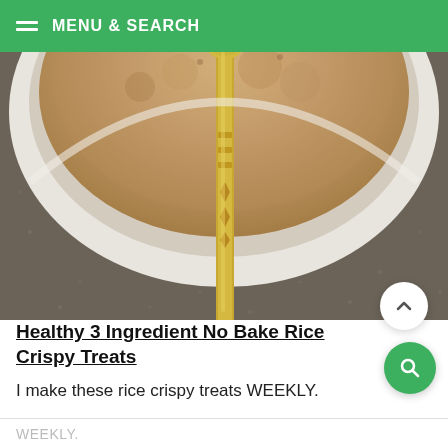MENU & SEARCH
[Figure (photo): Overhead close-up of a round baked dessert or cereal treat in a white bowl, with a decorative gold/brass spoon resting in the center, on a dark speckled surface]
Healthy 3 Ingredient No Bake Rice Crispy Treats
I make these rice crispy treats WEEKLY.
WEEKLY.